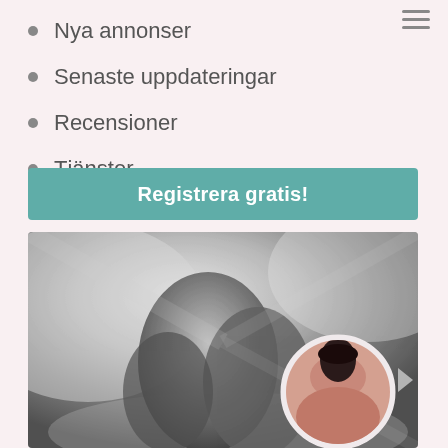Nya annonser
Senaste uppdateringar
Recensioner
Tjänster
Registrera gratis!
[Figure (photo): Grayscale image of a reclining body on white sheets, with a circular portrait inset of a dark-haired woman in the bottom-right corner]